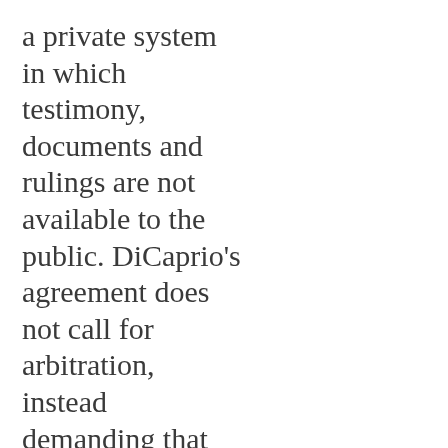a private system in which testimony, documents and rulings are not available to the public. DiCaprio's agreement does not call for arbitration, instead demanding that any